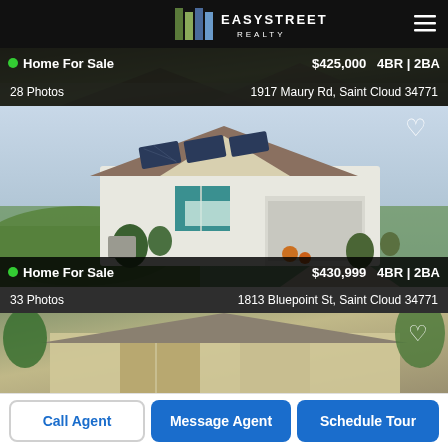[Figure (logo): EasyStreet Realty logo with stylized building icon on black header bar]
Home For Sale  $425,000  4BR | 2BA
28 Photos  1917 Maury Rd, Saint Cloud 34771
[Figure (photo): Aerial/overhead view of single-family home at 1813 Bluepoint St, Saint Cloud with solar panels on roof, white exterior, teal shutters, and green lawn]
Home For Sale  $430,999  4BR | 2BA
33 Photos  1813 Bluepoint St, Saint Cloud 34771
[Figure (photo): Partial view of another home listing for sale]
Call Agent
Message Agent
Schedule Tour